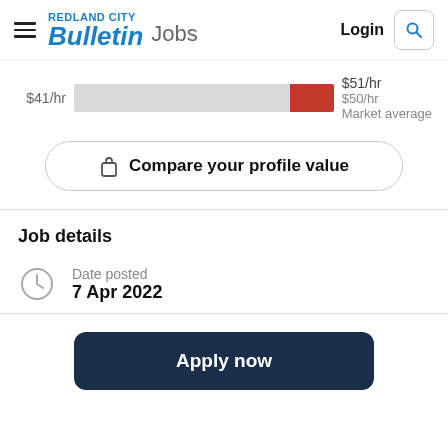REDLAND CITY Bulletin Jobs | Login
[Figure (other): Salary range bar chart showing $41/hr on left, a grey bar with a red marker near the right end, $51/hr on right, with $50/hr Market average label]
🔒 Compare your profile value
Job details
Date posted
7 Apr 2022
Apply now